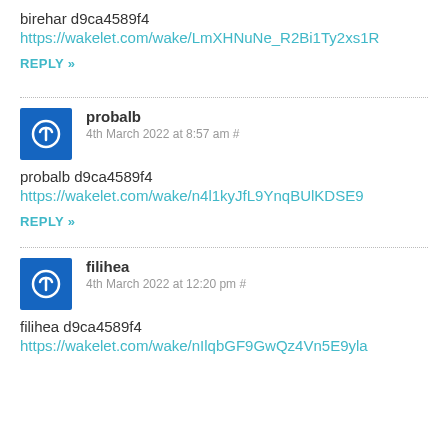birehar d9ca4589f4
https://wakelet.com/wake/LmXHNuNe_R2Bi1Ty2xs1R
REPLY »
probalb
4th March 2022 at 8:57 am #
probalb d9ca4589f4
https://wakelet.com/wake/n4l1kyJfL9YnqBUlKDSE9
REPLY »
filihea
4th March 2022 at 12:20 pm #
filihea d9ca4589f4
https://wakelet.com/wake/nIlqbGF9GwQz4Vn5E9yla